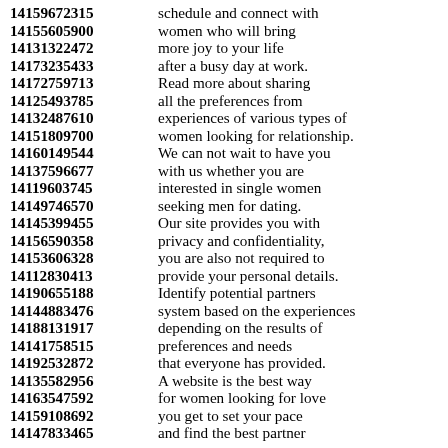14159672315 schedule and connect with
14155605900 women who will bring
14131322472 more joy to your life
14173235433 after a busy day at work.
14172759713 Read more about sharing
14125493785 all the preferences from
14132487610 experiences of various types of
14151809700 women looking for relationship.
14160149544 We can not wait to have you
14137596677 with us whether you are
14119603745 interested in single women
14149746570 seeking men for dating.
14145399455 Our site provides you with
14156590358 privacy and confidentiality,
14153606328 you are also not required to
14112830413 provide your personal details.
14190655188 Identify potential partners
14144883476 system based on the experiences
14188131917 depending on the results of
14141758515 preferences and needs
14192532872 that everyone has provided.
14135582956 A website is the best way
14163547592 for women looking for love
14159108692 you get to set your pace
14147833465 and find the best partner